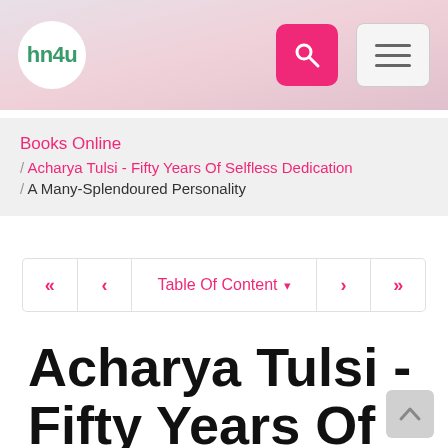[Figure (screenshot): Website navigation header bar with hn4u logo (green text in white circle), pink search button with magnifying glass icon, and grey hamburger menu button, on a pinkish-grey gradient background]
Books Online / Acharya Tulsi - Fifty Years Of Selfless Dedication / A Many-Splendoured Personality
<< < Table Of Content ▾ > >>
Acharya Tulsi - Fifty Years Of Selfless Dedication: A Divine Personality of the